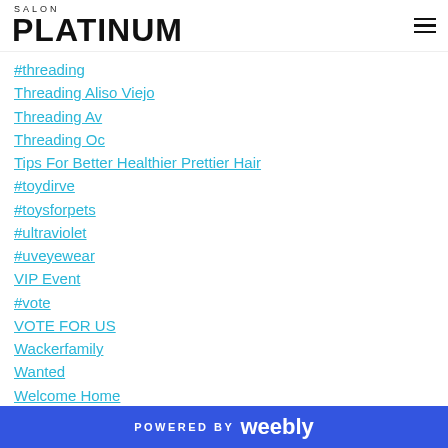SALON PLATINUM
#threading
Threading Aliso Viejo
Threading Av
Threading Oc
Tips For Better Healthier Prettier Hair
#toydirve
#toysforpets
#ultraviolet
#uveyewear
VIP Event
#vote
VOTE FOR US
Wackerfamily
Wanted
Welcome Home
POWERED BY weebly